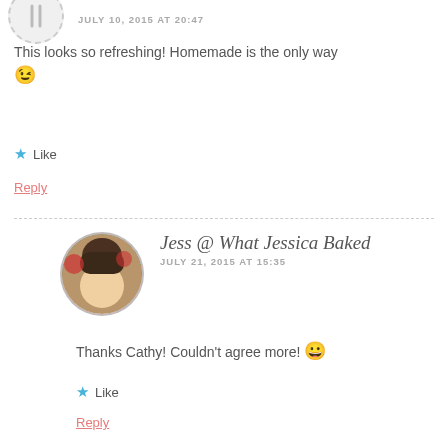JULY 10, 2015 AT 20:47
This looks so refreshing! Homemade is the only way 😉
★ Like
Reply
Jess @ What Jessica Baked
JULY 21, 2015 AT 15:35
Thanks Cathy! Couldn't agree more! 😀
★ Like
Reply